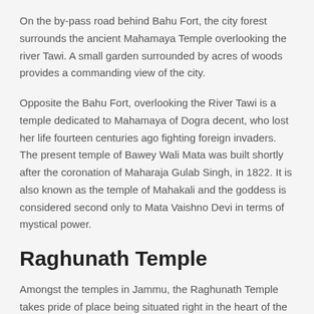On the by-pass road behind Bahu Fort, the city forest surrounds the ancient Mahamaya Temple overlooking the river Tawi. A small garden surrounded by acres of woods provides a commanding view of the city.
Opposite the Bahu Fort, overlooking the River Tawi is a temple dedicated to Mahamaya of Dogra decent, who lost her life fourteen centuries ago fighting foreign invaders. The present temple of Bawey Wali Mata was built shortly after the coronation of Maharaja Gulab Singh, in 1822. It is also known as the temple of Mahakali and the goddess is considered second only to Mata Vaishno Devi in terms of mystical power.
Raghunath Temple
Amongst the temples in Jammu, the Raghunath Temple takes pride of place being situated right in the heart of the